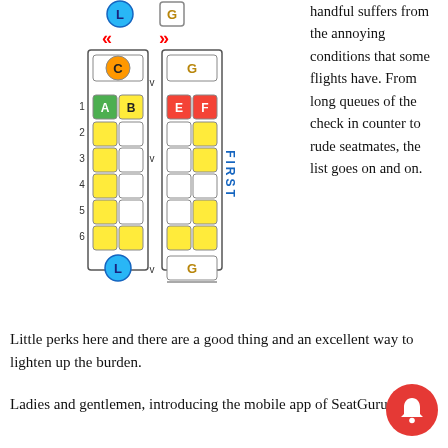[Figure (illustration): Airplane seat map showing two columns of seats with color-coded availability. Left column has seats A and B (green/yellow), right column has seats E and F (red/yellow). Rows 1-6 plus lavatory (L) and galley (G) markers. FIRST label on right side.]
handful suffers from the annoying conditions that some flights have. From long queues of the check in counter to rude seatmates, the list goes on and on.
Little perks here and there are a good thing and an excellent way to lighten up the burden.
Ladies and gentlemen, introducing the mobile app of SeatGuru.
[Figure (illustration): Red circular notification bell icon in bottom right corner]